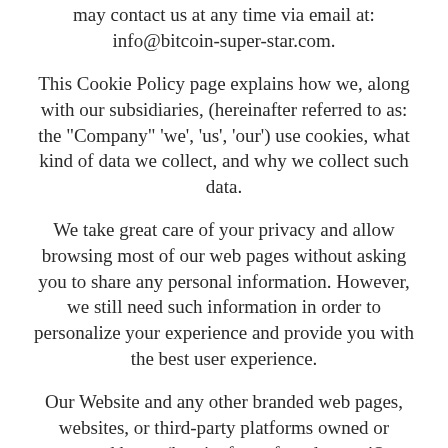may contact us at any time via email at: info@bitcoin-super-star.com.
This Cookie Policy page explains how we, along with our subsidiaries, (hereinafter referred to as: the "Company" 'we', 'us', 'our') use cookies, what kind of data we collect, and why we collect such data.
We take great care of your privacy and allow browsing most of our web pages without asking you to share any personal information. However, we still need such information in order to personalize your experience and provide you with the best user experience.
Our Website and any other branded web pages, websites, or third-party platforms owned or managed by us (hereinafter referred to as: 'Our Websites'), all function according to this Cookie Policy
By navigating Our Websites, you accept the use of the